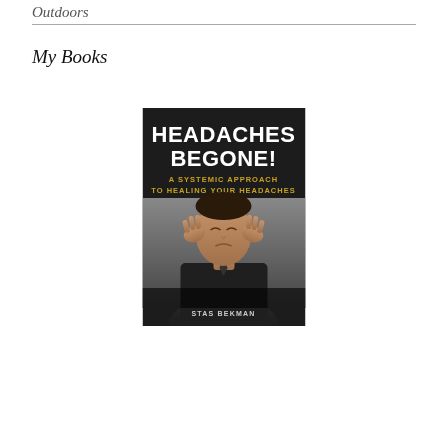Outdoors
My Books
[Figure (illustration): Book cover for 'Headaches Begone! A Systemic Approach To Healing Your Headaches' by Stas Bekman. Dark background with bold white title text, gold subtitle text, and a photo of a man holding his temples in pain.]